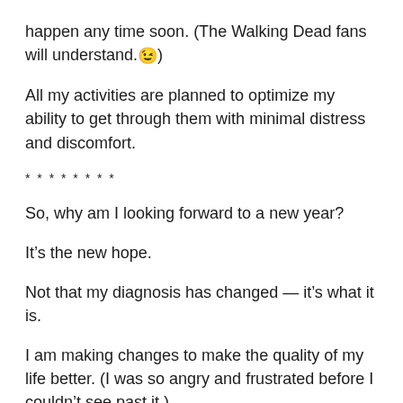happen any time soon. (The Walking Dead fans will understand.😉)
All my activities are planned to optimize my ability to get through them with minimal distress and discomfort.
* * * * * * * *
So, why am I looking forward to a new year?
It’s the new hope.
Not that my diagnosis has changed — it’s what it is.
I am making changes to make the quality of my life better. (I was so angry and frustrated before I couldn’t see past it.)
I’m taking control and becoming my own advocate. If I don’t, who will?